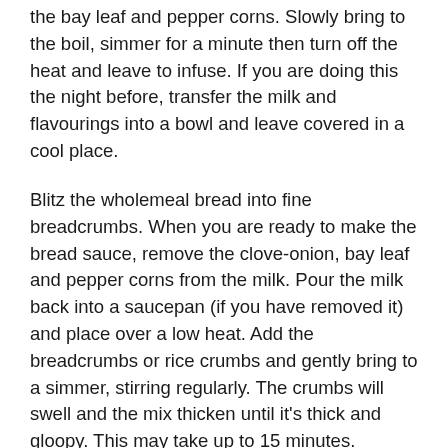the bay leaf and pepper corns. Slowly bring to the boil, simmer for a minute then turn off the heat and leave to infuse. If you are doing this the night before, transfer the milk and flavourings into a bowl and leave covered in a cool place.
Blitz the wholemeal bread into fine breadcrumbs. When you are ready to make the bread sauce, remove the clove-onion, bay leaf and pepper corns from the milk. Pour the milk back into a saucepan (if you have removed it) and place over a low heat. Add the breadcrumbs or rice crumbs and gently bring to a simmer, stirring regularly. The crumbs will swell and the mix thicken until it's thick and gloopy. This may take up to 15 minutes.
Add the next sauce (if using) along with the bread...